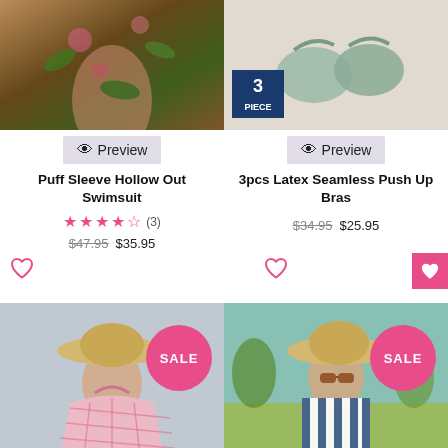[Figure (photo): Puff sleeve hollow out swimsuit product photo, cropped view of model in floral swimwear]
[Figure (photo): 3pcs latex seamless push up bras product photo, green bras on white background with 3 PIECE badge]
Preview
Preview
Puff Sleeve Hollow Out Swimsuit
3pcs Latex Seamless Push Up Bras
★★★★☆ (3)
$47.95 $35.95
$34.95 $25.95
[Figure (photo): Model wearing pink gingham halter dress with wide-brim straw hat, SALE badge visible]
[Figure (photo): Model wearing blue and white striped dress with straw hat and sunglasses, SALE badge visible]